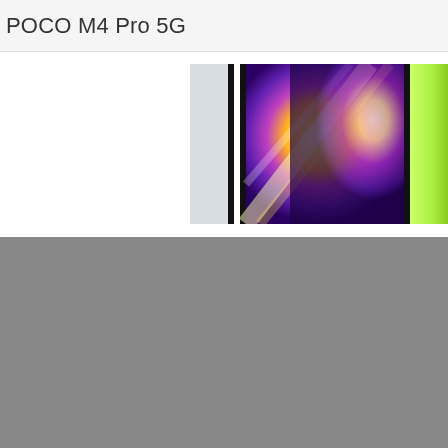POCO M4 Pro 5G
[Figure (photo): Colorful abstract/bokeh photo showing vibrant purple, yellow, green, and white light patterns, partially visible with black vertical stripes, appears to be a phone or display advertisement image]
[Figure (photo): Gray placeholder/loading area occupying the lower half of the page]